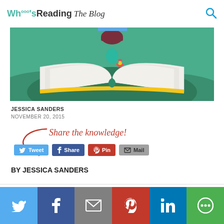Whooo's Reading The Blog
[Figure (illustration): Illustrated open book with green hills and colorful flowers background, partially overlapped by blue decorative tab at top]
JESSICA SANDERS
NOVEMBER 20, 2015
Share the knowledge!
Tweet  Share  Pin  Mail
BY JESSICA SANDERS
[Figure (infographic): Bottom social sharing bar with Twitter, Facebook, Mail, Pinterest, LinkedIn, and More icons on colored backgrounds]